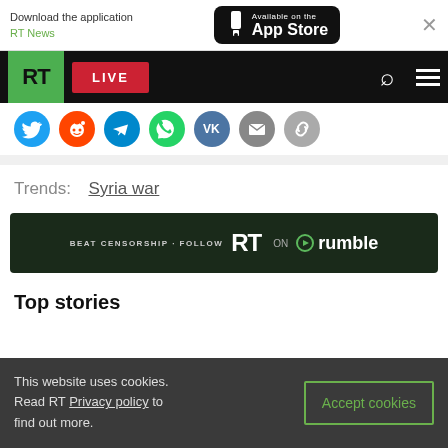[Figure (screenshot): RT News app download banner with App Store button]
[Figure (logo): RT navigation bar with green RT logo, LIVE button, search and menu icons]
[Figure (screenshot): Social media sharing icons row: Twitter, Reddit, Telegram, WhatsApp, VK, Email, Link]
Trends:  Syria war
[Figure (infographic): BEAT CENSORSHIP - FOLLOW RT ON rumble banner with dark green background]
Top stories
This website uses cookies. Read RT Privacy policy to find out more.
Accept cookies